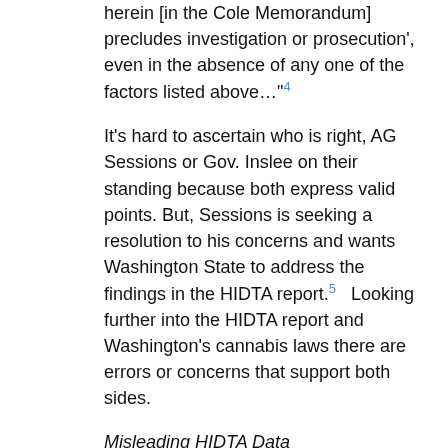herein [in the Cole Memorandum] precludes investigation or prosecution', even in the absence of any one of the factors listed above…" 4
It's hard to ascertain who is right, AG Sessions or Gov. Inslee on their standing because both express valid points. But, Sessions is seeking a resolution to his concerns and wants Washington State to address the findings in the HIDTA report. 5   Looking further into the HIDTA report and Washington's cannabis laws there are errors or concerns that support both sides.
Misleading HIDTA Data
At first glance, some of the statistics in the HIDTA report sound very alarming, but as you look at the parameters and the variables that come into play the numbers do not look so staggering. For example, Sessions quoted the statistic that "during 2013-2014, 48% of statewide student expulsions and 42% of suspensions directly involved